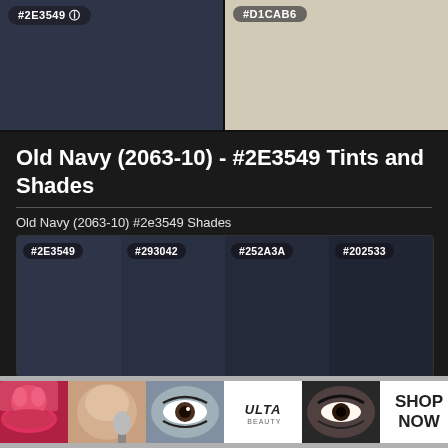[Figure (other): Two color swatches side by side: left swatch is dark navy #2E3549, right swatch is beige #D1CAB6, each with hex label in rounded pill badge at top]
Old Navy (2063-10) - #2E3549 Tints and Shades
Old Navy (2063-10) #2e3549 Shades
[Figure (infographic): Four dark navy shades grid: #2E3549, #293042, #252A3A, #202533, each as a color cell with hex code badge]
[Figure (infographic): Four even darker navy/near-black shades row: #1C202C, #171A24, #12151D, #0F1016 with a CLOSE button overlay]
[Figure (infographic): Advertisement banner for ULTA beauty with makeup photos and SHOP NOW button]